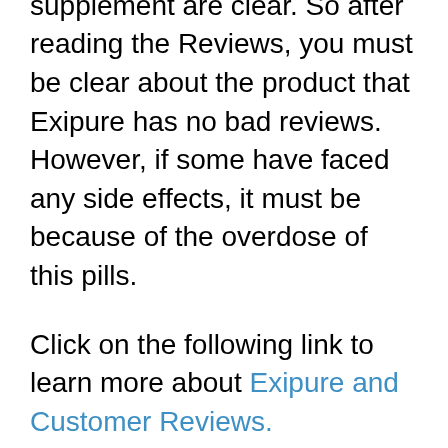that the benefits of taking this supplement are clear. So after reading the Reviews, you must be clear about the product that Exipure has no bad reviews. However, if some have faced any side effects, it must be because of the overdose of this pills.
Click on the following link to learn more about Exipure and Customer Reviews.
It is a multifaceted weight loss solution shown in numerous studies to help efficiently burn fat. This is accredited to its contents, including specially selected ingredients such as White Korean Ginseng, Amur Cork Bark, etc. As effective as it is in helping users shed pounds, it's even better in ensuring the brain health of users. Moreover, numerous